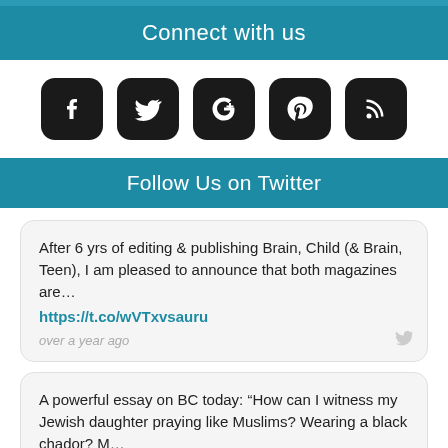Connect with us
[Figure (illustration): Row of 5 social media icons: Facebook, Twitter, Google+, Pinterest, RSS feed — all black rounded square icons]
Follow Us on Twitter
After 6 yrs of editing & publishing Brain, Child (& Brain, Teen), I am pleased to announce that both magazines are… https://t.co/wVTxvsauru over a year ago
A powerful essay on BC today: “How can I witness my Jewish daughter praying like Muslims? Wearing a black chador? M… https://t.co/QShazI8QmN over a year ago